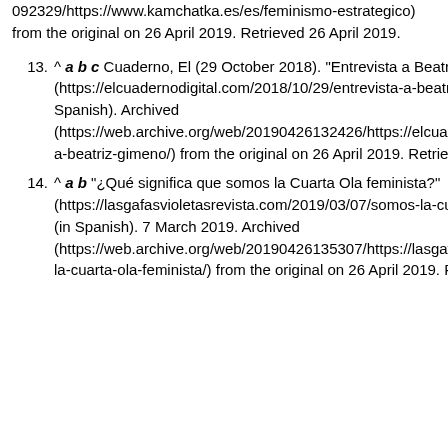092329/https://www.kamchatka.es/es/feminismo-estrategico) from the original on 26 April 2019. Retrieved 26 April 2019.
13. ^ a b c Cuaderno, El (29 October 2018). "Entrevista a Beatriz Gimeno" (https://elcuadernodigital.com/2018/10/29/entrevista-a-beatriz-gimeno/). El Cuaderno (in European Spanish). Archived (https://web.archive.org/web/20190426132426/https://elcuadernodigital.com/2018/10/29/entrevista-a-beatriz-gimeno/) from the original on 26 April 2019. Retrieved 26 April 2019.
14. ^ a b "¿Qué significa que somos la Cuarta Ola feminista?" (https://lasgafasvioletasrevista.com/2019/03/07/somos-la-cuarta-ola-feminista/). Las Gafas Violetas (in Spanish). 7 March 2019. Archived (https://web.archive.org/web/20190426135307/https://lasgafasvioletasrevista.com/2019/03/07/somos-la-cuarta-ola-feminista/) from the original on 26 April 2019. Retrieved 26 April